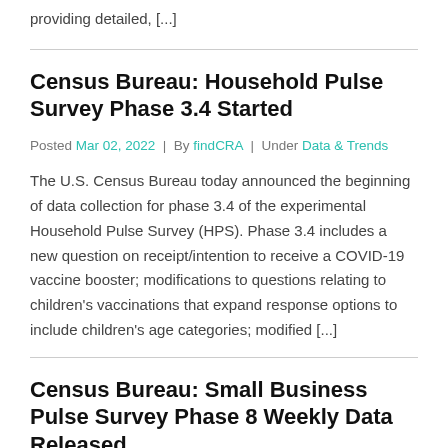providing detailed, [...]
Census Bureau: Household Pulse Survey Phase 3.4 Started
Posted Mar 02, 2022 | By findCRA | Under Data & Trends
The U.S. Census Bureau today announced the beginning of data collection for phase 3.4 of the experimental Household Pulse Survey (HPS). Phase 3.4 includes a new question on receipt/intention to receive a COVID-19 vaccine booster; modifications to questions relating to children's vaccinations that expand response options to include children's age categories; modified [...]
Census Bureau: Small Business Pulse Survey Phase 8 Weekly Data Released